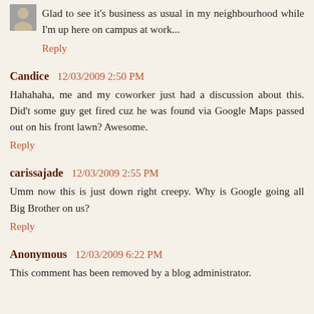Glad to see it's business as usual in my neighbourhood while I'm up here on campus at work...
Reply
Candice  12/03/2009 2:50 PM
Hahahaha, me and my coworker just had a discussion about this. Did't some guy get fired cuz he was found via Google Maps passed out on his front lawn? Awesome.
Reply
carissajade  12/03/2009 2:55 PM
Umm now this is just down right creepy. Why is Google going all Big Brother on us?
Reply
Anonymous  12/03/2009 6:22 PM
This comment has been removed by a blog administrator.